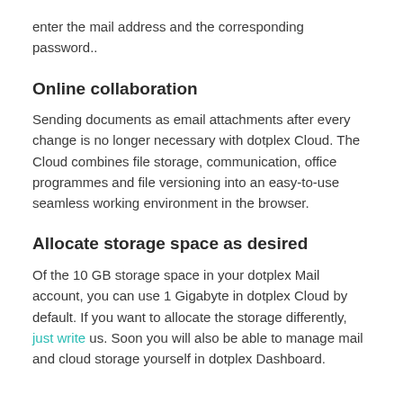enter the mail address and the corresponding password..
Online collaboration
Sending documents as email attachments after every change is no longer necessary with dotplex Cloud. The Cloud combines file storage, communication, office programmes and file versioning into an easy-to-use seamless working environment in the browser.
Allocate storage space as desired
Of the 10 GB storage space in your dotplex Mail account, you can use 1 Gigabyte in dotplex Cloud by default. If you want to allocate the storage differently, just write us. Soon you will also be able to manage mail and cloud storage yourself in dotplex Dashboard.